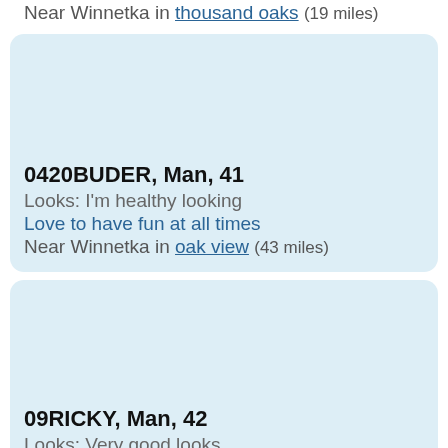Near Winnetka in thousand oaks (19 miles)
0420BUDER, Man, 41
Looks: I'm healthy looking
Love to have fun at all times
Near Winnetka in oak view (43 miles)
09RICKY, Man, 42
Looks: Very good looks
I'm a personal boxing structure I love animals I like to have fun laugh I'm open minded straight